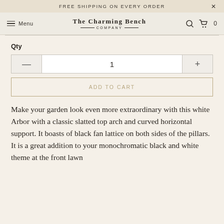FREE SHIPPING ON EVERY ORDER
THE CHARMING BENCH COMPANY
Qty
1
ADD TO CART
Make your garden look even more extraordinary with this white Arbor with a classic slatted top arch and curved horizontal support. It boasts of black fan lattice on both sides of the pillars. It is a great addition to your monochromatic black and white theme at the front lawn